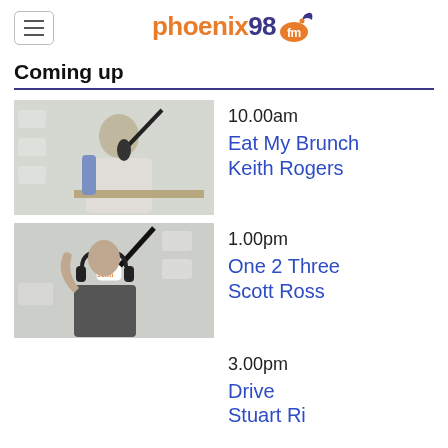phoenix 98 fm logo with menu button
Coming up
[Figure (photo): Radio presenter sitting at a microphone in a studio with phoenix 98fm branded backdrop]
10.00am
Eat My Brunch
Keith Rogers
[Figure (photo): Radio presenter with headphones raising hand at microphone in a studio with phoenix 98fm branded backdrop]
1.00pm
One 2 Three
Scott Ross
3.00pm
Drive
Stuart Ri...